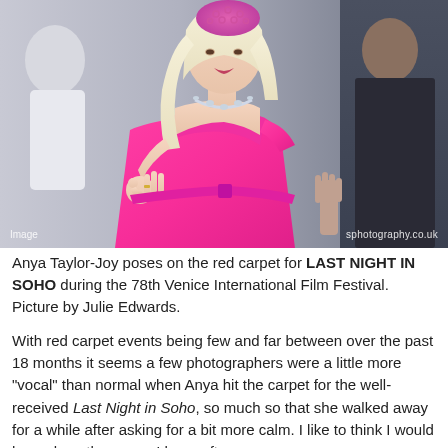[Figure (photo): Anya Taylor-Joy in a bright pink dress and pink fascinator hat, making an OK gesture with her hand, posing on the red carpet at the 78th Venice International Film Festival for Last Night in Soho. Other people visible in background.]
Anya Taylor-Joy poses on the red carpet for LAST NIGHT IN SOHO during the 78th Venice International Film Festival. Picture by Julie Edwards.
With red carpet events being few and far between over the past 18 months it seems a few photographers were a little more "vocal" than normal when Anya hit the carpet for the well-received Last Night in Soho, so much so that she walked away for a while after asking for a bit more calm. I like to think I would have done the same. I have often